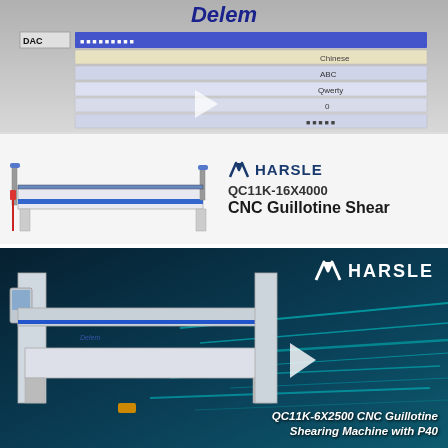[Figure (screenshot): DAC control screen interface showing menu rows with language/keyboard options including Chinese, ABC, Qwerty. Delem brand visible at top.]
[Figure (photo): Harsle QC11K-16X4000 CNC Guillotine Shear machine shown on white background, flat bed shearing machine with blue accent panels.]
HARSLE QC11K-16X4000 CNC Guillotine Shear
[Figure (photo): Harsle QC11K-6X2500 CNC Guillotine Shearing Machine with P40 on dark teal background with speed lines and play button overlay.]
QC11K-6X2500 CNC Guillotine Shearing Machine with P40